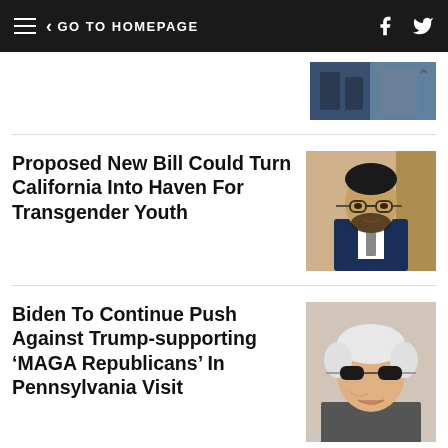GO TO HOMEPAGE
[Figure (photo): Partial view of two people outdoors, truncated at top of page]
Proposed New Bill Could Turn California Into Haven For Transgender Youth
[Figure (photo): Man with glasses and beard wearing a dark suit and grey tie]
Biden To Continue Push Against Trump-supporting 'MAGA Republicans' In Pennsylvania Visit
[Figure (photo): Elderly man with white hair wearing sunglasses, partially cropped]